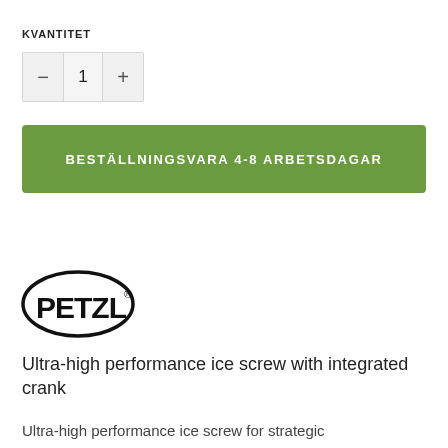KVANTITET
− 1 +
BESTÄLLNINGSVARA 4-8 ARBETSDAGAR
[Figure (logo): Petzl brand logo — black oval outline with PETZL text in bold black letters and registered trademark symbol]
Ultra-high performance ice screw with integrated crank
Ultra-high performance ice screw for strategic